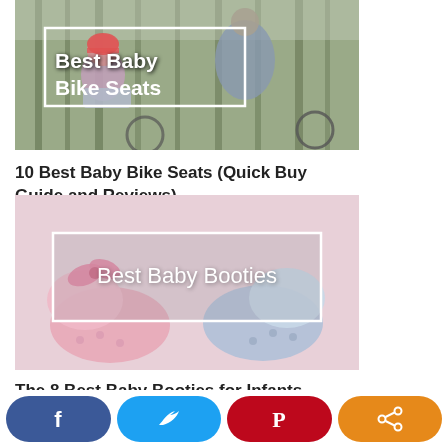[Figure (photo): Photo of a child in a baby bike seat on a bicycle, with a parent riding. Overlaid with text 'Best Baby Bike Seats' in a white bordered box.]
10 Best Baby Bike Seats (Quick Buy Guide and Reviews)
[Figure (photo): Photo of pink and blue baby booties on a light background. Overlaid with text 'Best Baby Booties' in a white bordered box.]
The 8 Best Baby Booties for Infants
[Figure (infographic): Social share bar with four buttons: Facebook (dark blue, f icon), Twitter (light blue, bird icon), Pinterest (red, P icon), Share (orange, share icon).]